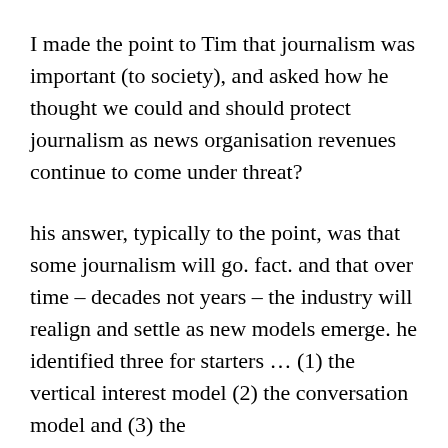I made the point to Tim that journalism was important (to society), and asked how he thought we could and should protect journalism as news organisation revenues continue to come under threat?
his answer, typically to the point, was that some journalism will go. fact. and that over time – decades not years – the industry will realign and settle as new models emerge. he identified three for starters … (1) the vertical interest model (2) the conversation model and (3) the